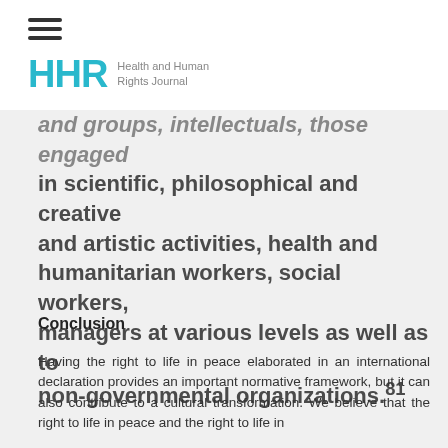HHR Health and Human Rights Journal
and groups, intellectuals, those engaged in scientific, philosophical and creative and artistic activities, health and humanitarian workers, social workers, managers at various levels as well as to non-governmental organizations.²81
Conclusion
Having the right to life in peace elaborated in an international declaration provides an important normative framework, but it can also contribute to a cultural transformation. We believe that the right to life in peace and the right to life in